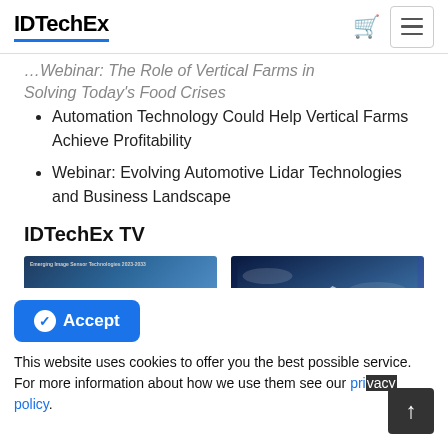IDTechEx
Solving Today's Food Crises
Automation Technology Could Help Vertical Farms Achieve Profitability
Webinar: Evolving Automotive Lidar Technologies and Business Landscape
IDTechEx TV
[Figure (screenshot): Thumbnail image of a chart presentation slide about Emerging Image Sensor Technologies]
Image Sensor Technology Trends
[Figure (photo): Thumbnail image of a hypersonic aircraft or missile with glowing engines against a blue sky background, with text overlay about sensors]
Sensors With Electrical Output: Technology,
This website uses cookies to offer you the best possible service. For more information about how we use them see our privacy policy.